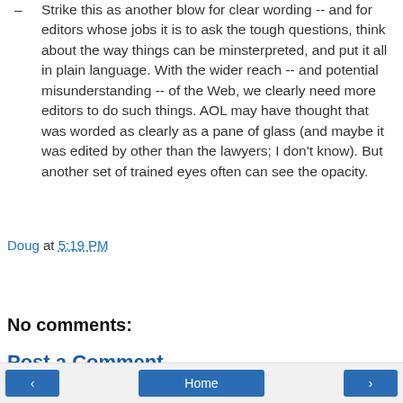Strike this as another blow for clear wording -- and for editors whose jobs it is to ask the tough questions, think about the way things can be minsterpreted, and put it all in plain language. With the wider reach -- and potential misunderstanding -- of the Web, we clearly need more editors to do such things. AOL may have thought that was worded as clearly as a pane of glass (and maybe it was edited by other than the lawyers; I don't know). But another set of trained eyes often can see the opacity.
Doug at 5:19 PM
Share
No comments:
Post a Comment
< Home >